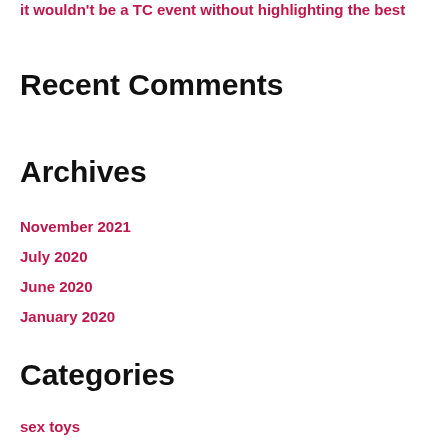it wouldn't be a TC event without highlighting the best
Recent Comments
Archives
November 2021
July 2020
June 2020
January 2020
Categories
sex toys